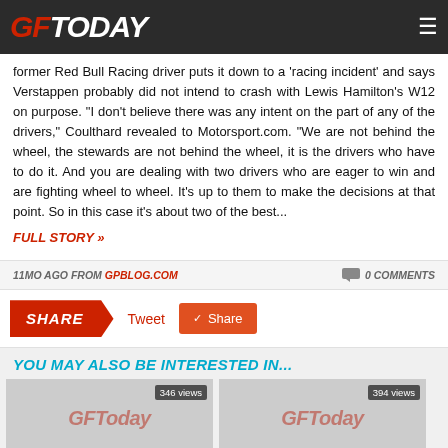GPToday
former Red Bull Racing driver puts it down to a 'racing incident' and says Verstappen probably did not intend to crash with Lewis Hamilton's W12 on purpose. "I don't believe there was any intent on the part of any of the drivers," Coulthard revealed to Motorsport.com. "We are not behind the wheel, the stewards are not behind the wheel, it is the drivers who have to do it. And you are dealing with two drivers who are eager to win and are fighting wheel to wheel. It's up to them to make the decisions at that point. So in this case it's about two of the best...
FULL STORY »
11MO AGO FROM GPBLOG.COM   0 COMMENTS
SHARE   Tweet   Share
YOU MAY ALSO BE INTERESTED IN...
[Figure (screenshot): Thumbnail with 346 views label and GPToday logo]
[Figure (screenshot): Thumbnail with 394 views label and GPToday logo]